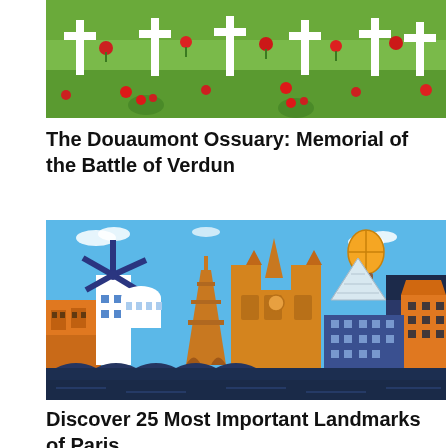[Figure (photo): Photograph of a cemetery or memorial garden with white grave markers, red roses, and green grass in the background — related to the Douaumont Ossuary.]
The Douaumont Ossuary: Memorial of the Battle of Verdun
[Figure (illustration): Colorful flat-design illustration of the Paris skyline featuring the Eiffel Tower, Notre-Dame Cathedral, Moulin Rouge windmill, a glass pyramid (Louvre), hot air balloon, and Haussmann-style buildings in orange, blue, and dark navy.]
Discover 25 Most Important Landmarks of Paris